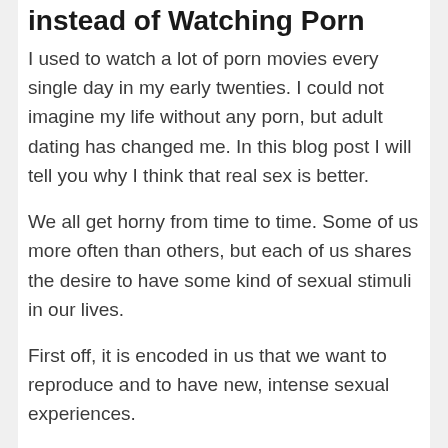instead of Watching Porn
I used to watch a lot of porn movies every single day in my early twenties. I could not imagine my life without any porn, but adult dating has changed me. In this blog post I will tell you why I think that real sex is better.
We all get horny from time to time. Some of us more often than others, but each of us shares the desire to have some kind of sexual stimuli in our lives.
First off, it is encoded in us that we want to reproduce and to have new, intense sexual experiences.